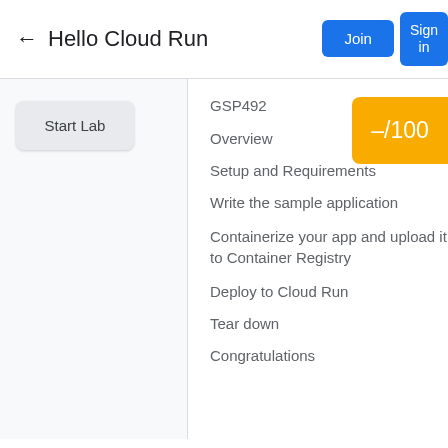← Hello Cloud Run
Start Lab
–/100
GSP492
Overview
Setup and Requirements
Write the sample application
Containerize your app and upload it to Container Registry
Deploy to Cloud Run
Tear down
Congratulations